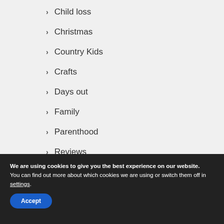Child loss
Christmas
Country Kids
Crafts
Days out
Family
Parenthood
Reviews
We are using cookies to give you the best experience on our website.
You can find out more about which cookies we are using or switch them off in settings.
Accept